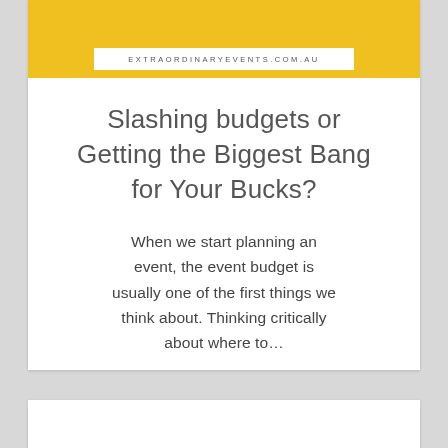EXTRAORDINARYEVENTS.COM.AU
Slashing budgets or Getting the Biggest Bang for Your Bucks?
When we start planning an event, the event budget is usually one of the first things we think about. Thinking critically about where to...